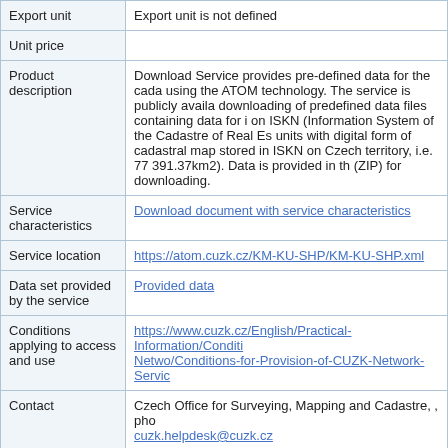| Field | Value |
| --- | --- |
| Export unit | Export unit is not defined |
| Unit price |  |
| Product description | Download Service provides pre-defined data for the cada... using the ATOM technology. The service is publicly availa... downloading of predefined data files containing data for i... on ISKN (Information System of the Cadastre of Real Es... units with digital form of cadastral map stored in ISKN on... Czech territory, i.e. 77 391.37km2). Data is provided in th... (ZIP) for downloading. |
| Service characteristics | Download document with service characteristics |
| Service location | https://atom.cuzk.cz/KM-KU-SHP/KM-KU-SHP.xml |
| Data set provided by the service | Provided data |
| Conditions applying to access and use | https://www.cuzk.cz/English/Practical-Information/Conditi... Netwo/Conditions-for-Provision-of-CUZK-Network-Servic... |
| Contact | Czech Office for Surveying, Mapping and Cadastre, , pho... cuzk.helpdesk@cuzk.cz |
Detailed metadata